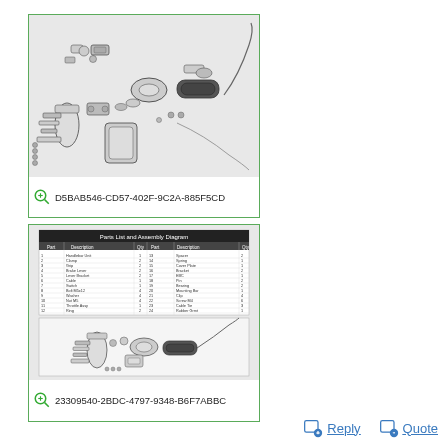[Figure (engineering-diagram): Exploded parts assembly diagram for a mechanical component (handlebar/control assembly), showing individual parts spread out with connectors and cables. Image ID: D5BAB546-CD57-402F-9C2A-885F5CD]
[Figure (engineering-diagram): Parts list and assembly diagram sheet showing a table with part numbers and descriptions, and a smaller exploded assembly diagram below. Image ID: 23309540-2BDC-4797-9348-B6F7ABBC]